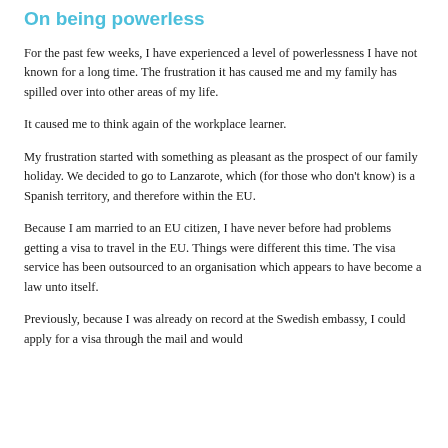On being powerless
For the past few weeks, I have experienced a level of powerlessness I have not known for a long time. The frustration it has caused me and my family has spilled over into other areas of my life.
It caused me to think again of the workplace learner.
My frustration started with something as pleasant as the prospect of our family holiday. We decided to go to Lanzarote, which (for those who don't know) is a Spanish territory, and therefore within the EU.
Because I am married to an EU citizen, I have never before had problems getting a visa to travel in the EU. Things were different this time. The visa service has been outsourced to an organisation which appears to have become a law unto itself.
Previously, because I was already on record at the Swedish embassy, I could apply for a visa through the mail and would